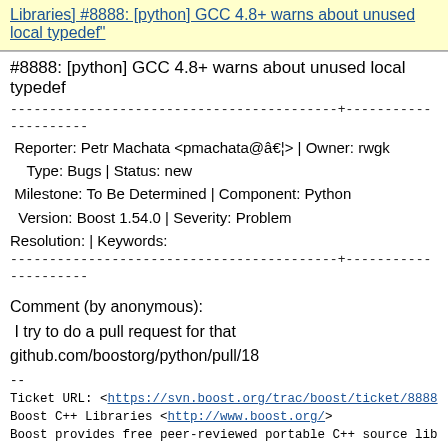Libraries] #8888: [python] GCC 4.8+ warns about unused local typedef"
#8888: [python] GCC 4.8+ warns about unused local typedef
Reporter: Petr Machata <pmachata@â€¦> | Owner: rwgk
Type: Bugs | Status: new
Milestone: To Be Determined | Component: Python
Version: Boost 1.54.0 | Severity: Problem
Resolution: | Keywords:
Comment (by anonymous):
I try to do a pull request for that
github.com/boostorg/python/pull/18
--
Ticket URL: <https://svn.boost.org/trac/boost/ticket/8888>
Boost C++ Libraries <http://www.boost.org/>
Boost provides free peer-reviewed portable C++ source lib
Next message: Boost C++ Libraries: "[Boost-bugs] [Boost C++ Libraries] #11250: future made from make exceptional